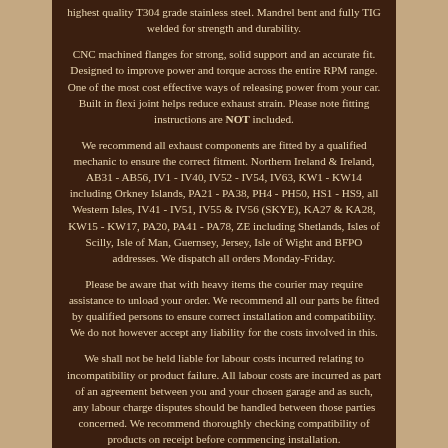highest quality T304 grade stainless steel. Mandrel bent and fully TIG welded for strength and durability.
CNC machined flanges for strong, solid support and an accurate fit. Designed to improve power and torque across the entire RPM range. One of the most cost effective ways of releasing power from your car. Built in flexi joint helps reduce exhaust strain. Please note fitting instructions are NOT included.
We recommend all exhaust components are fitted by a qualified mechanic to ensure the correct fitment. Northern Ireland & Ireland, AB31 - AB56, IV1 - IV40, IV52 - IV54, IV63, KW1 - KW14 including Orkney Islands, PA21 - PA38, PH4 - PH50, HS1 - HS9, all Western Isles, IV41 - IV51, IV55 & IV56 (SKYE), KA27 & KA28, KW15 - KW17, PA20, PA41 - PA78, ZE including Shetlands, Isles of Scilly, Isle of Man, Guernsey, Jersey, Isle of Wight and BFPO addresses. We dispatch all orders Monday-Friday.
Please be aware that with heavy items the courier may require assistance to unload your order. We recommend all our parts be fitted by qualified persons to ensure correct installation and compatibility. We do not however accept any liability for the costs involved in this.
We shall not be held liable for labour costs incurred relating to incompatibility or product failure. All labour costs are incurred as part of an agreement between you and your chosen garage and as such, any labour charge disputes should be handled between those parties concerned. We recommend thoroughly checking compatibility of products on receipt before commencing installation.
We ask that all returning items are provided in an un-used state in their